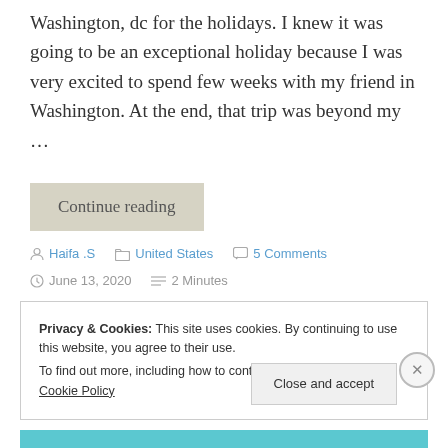Washington, dc for the holidays. I knew it was going to be an exceptional holiday because I was very excited to spend few weeks with my friend in Washington. At the end, that trip was beyond my …
Continue reading
Haifa .S   United States   5 Comments   June 13, 2020   2 Minutes
Privacy & Cookies: This site uses cookies. By continuing to use this website, you agree to their use. To find out more, including how to control cookies, see here: Cookie Policy
Close and accept